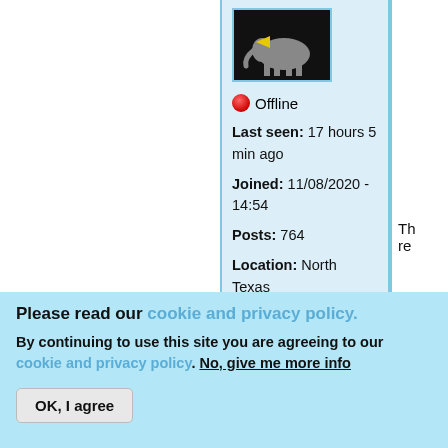[Figure (photo): User avatar image showing an animal (elephant or rhino) with a yellow object against a black background]
🔴 Offline
Last seen: 17 hours 5 min ago
Joined: 11/08/2020 - 14:54
Posts: 764
Location: North Texas
Th re
Please read our cookie and privacy policy.
By continuing to use this site you are agreeing to our cookie and privacy policy. No, give me more info
OK, I agree